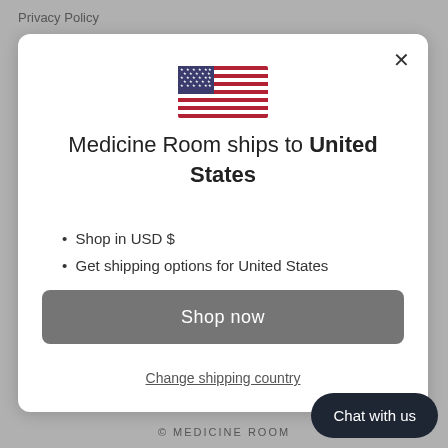Privacy Policy
[Figure (illustration): US flag icon]
Medicine Room ships to United States
Shop in USD $
Get shipping options for United States
Shop now
Change shipping country
Chat with us
© MEDICINE ROOM